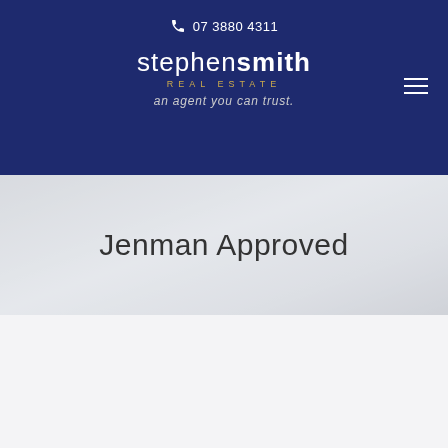07 3880 4311
[Figure (logo): Stephen Smith Real Estate logo with tagline 'an agent you can trust.']
Jenman Approved